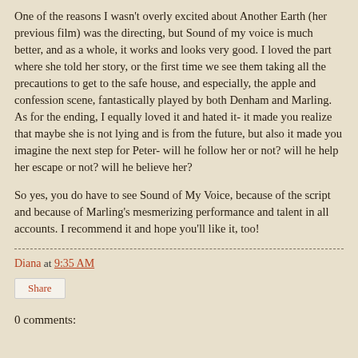One of the reasons I wasn't overly excited about Another Earth (her previous film) was the directing, but Sound of my voice is much better, and as a whole, it works and looks very good. I loved the part where she told her story, or the first time we see them taking all the precautions to get to the safe house, and especially, the apple and confession scene, fantastically played by both Denham and Marling. As for the ending, I equally loved it and hated it- it made you realize that maybe she is not lying and is from the future, but also it made you imagine the next step for Peter- will he follow her or not? will he help her escape or not? will he believe her?
So yes, you do have to see Sound of My Voice, because of the script and because of Marling's mesmerizing performance and talent in all accounts. I recommend it and hope you'll like it, too!
Diana at 9:35 AM
Share
0 comments: